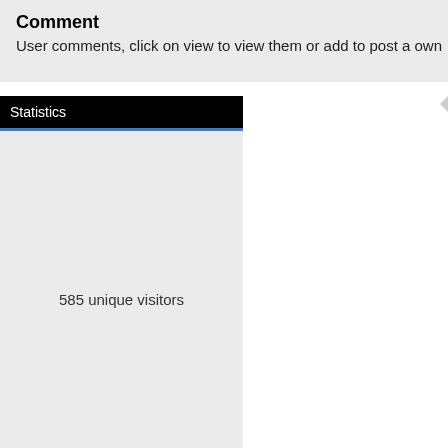Comment
User comments, click on view to view them or add to post a own
Statistics
585 unique visitors